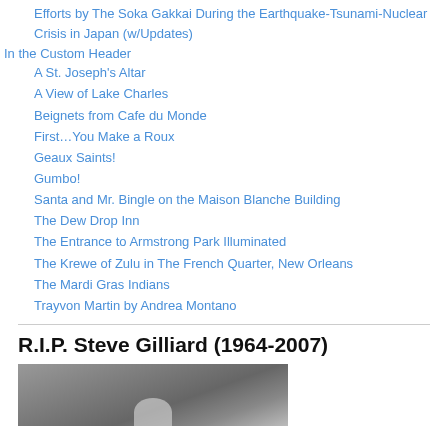Efforts by The Soka Gakkai During the Earthquake-Tsunami-Nuclear Crisis in Japan (w/Updates)
In the Custom Header
A St. Joseph's Altar
A View of Lake Charles
Beignets from Cafe du Monde
First…You Make a Roux
Geaux Saints!
Gumbo!
Santa and Mr. Bingle on the Maison Blanche Building
The Dew Drop Inn
The Entrance to Armstrong Park Illuminated
The Krewe of Zulu in The French Quarter, New Orleans
The Mardi Gras Indians
Trayvon Martin by Andrea Montano
R.I.P. Steve Gilliard (1964-2007)
[Figure (photo): Black and white photo of a person]